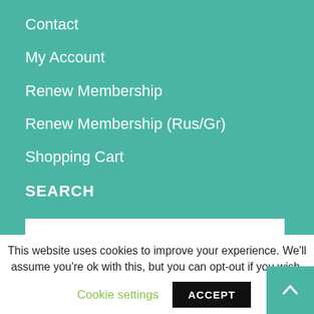Contact
My Account
Renew Membership
Renew Membership (Rus/Gr)
Shopping Cart
SEARCH
This website uses cookies to improve your experience. We'll assume you're ok with this, but you can opt-out if you wish.
Cookie settings
ACCEPT